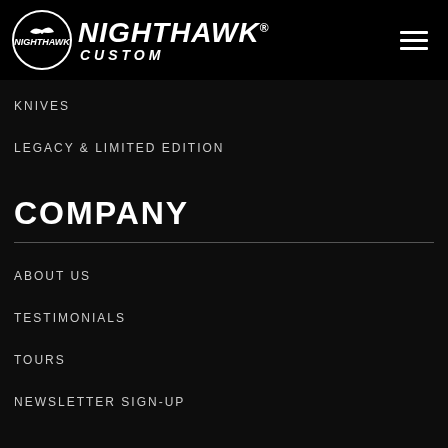NIGHTHAWK CUSTOM
KNIVES
LEGACY & LIMITED EDITION
COMPANY
ABOUT US
TESTIMONIALS
TOURS
NEWSLETTER SIGN-UP